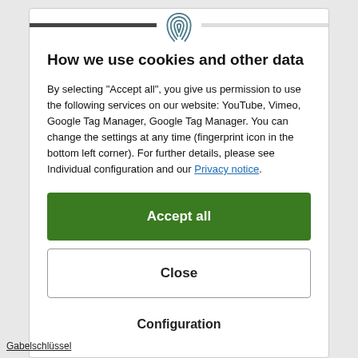How we use cookies and other data
By selecting "Accept all", you give us permission to use the following services on our website: YouTube, Vimeo, Google Tag Manager, Google Tag Manager. You can change the settings at any time (fingerprint icon in the bottom left corner). For further details, please see Individual configuration and our Privacy notice.
Accept all
Close
Configuration
Gabelschlüssel